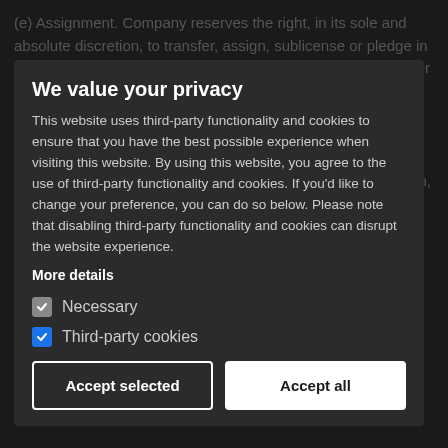(e) Assignment. Company reserves the right, in its sole and absolute discretion, to transfer, assign, sublicense or pledge in any manner whatsoever, any of its rights and obligations under this Agreement and any purported assignment, sale, transfer, delegation or other disposition by you, except as permitted herein, will be null and void.
We value your privacy
This website uses third-party functionality and cookies to ensure that you have the best possible experience when visiting this website. By using this website, you agree to the use of third-party functionality and cookies. If you'd like to change your preference, you can do so below. Please note that disabling third-party functionality and cookies can disrupt the website experience.
More details
Necessary
Third-party cookies
Accept selected
Accept all